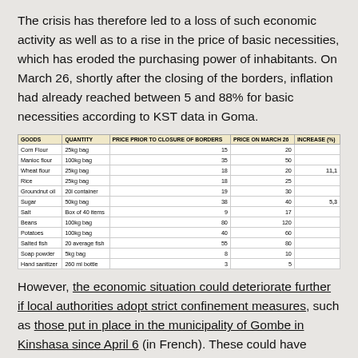The crisis has therefore led to a loss of such economic activity as well as to a rise in the price of basic necessities, which has eroded the purchasing power of inhabitants. On March 26, shortly after the closing of the borders, inflation had already reached between 5 and 88% for basic necessities according to KST data in Goma.
| GOODS | QUANTITY | PRICE PRIOR TO CLOSURE OF BORDERS | PRICE ON MARCH 26 | INCREASE (%) |
| --- | --- | --- | --- | --- |
| Corn Flour | 25kg bag | 15 | 20 | 33,3 |
| Manioc flour | 100kg bag | 35 | 50 | 42,9 |
| Wheat flour | 25kg bag | 18 | 20 | 11,1 |
| Rice | 25kg bag | 18 | 25 | 38,9 |
| Groundnut oil | 20l container | 19 | 30 | 57,9 |
| Sugar | 50kg bag | 38 | 40 | 5,3 |
| Salt | Box of 40 items | 9 | 17 | 88,9 |
| Beans | 100kg bag | 80 | 120 | 50,0 |
| Potatoes | 100kg bag | 40 | 60 | 50,0 |
| Salted fish | 20 average fish | 55 | 80 | 45,5 |
| Soap powder | 5kg bag | 8 | 10 | 25,0 |
| Hand sanitizer | 260 ml bottle | 3 | 5 | 66,7 |
However, the economic situation could deteriorate further if local authorities adopt strict confinement measures, such as those put in place in the municipality of Gombe in Kinshasa since April 6 (in French). These could have devastating consequences on employment and income in